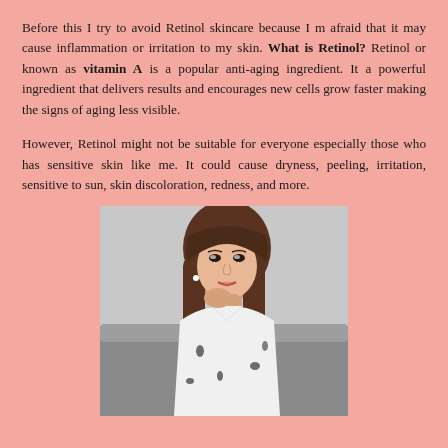Before this I try to avoid Retinol skincare because I m afraid that it may cause inflammation or irritation to my skin. What is Retinol? Retinol or known as vitamin A is a popular anti-aging ingredient. It a powerful ingredient that delivers results and encourages new cells grow faster making the signs of aging less visible.
However, Retinol might not be suitable for everyone especially those who has sensitive skin like me. It could cause dryness, peeling, irritation, sensitive to sun, skin discoloration, redness, and more.
[Figure (photo): A young Asian woman with long brown hair, wearing a white floral top, sitting on a grey couch, resting her chin on her hand, looking at the camera.]